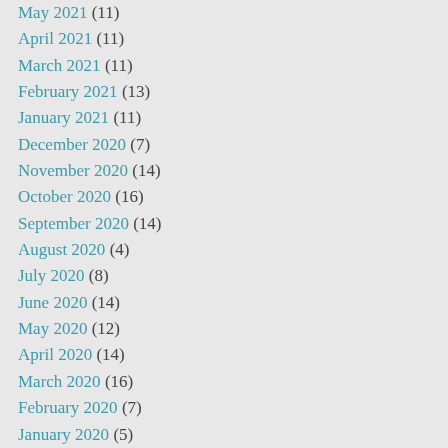May 2021 (11)
April 2021 (11)
March 2021 (11)
February 2021 (13)
January 2021 (11)
December 2020 (7)
November 2020 (14)
October 2020 (16)
September 2020 (14)
August 2020 (4)
July 2020 (8)
June 2020 (14)
May 2020 (12)
April 2020 (14)
March 2020 (16)
February 2020 (7)
January 2020 (5)
December 2019 (4)